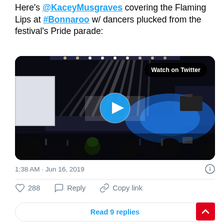Here's @KaceyMusgraves covering the Flaming Lips at #Bonnaroo w/ dancers plucked from the festival's Pride parade:
[Figure (screenshot): Video thumbnail of a concert at Bonnaroo showing stage lights and crowd, with a blue play button in the center and a 'Watch on Twitter' badge in the top right corner.]
1:38 AM · Jun 16, 2019
288  Reply  Copy link
Read 9 replies